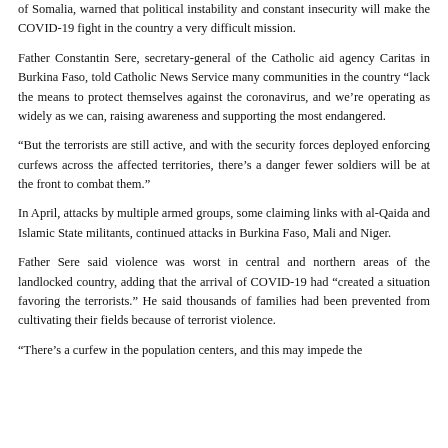of Somalia, warned that political instability and constant insecurity will make the COVID-19 fight in the country a very difficult mission.
Father Constantin Sere, secretary-general of the Catholic aid agency Caritas in Burkina Faso, told Catholic News Service many communities in the country "lack the means to protect themselves against the coronavirus, and we’re operating as widely as we can, raising awareness and supporting the most endangered.
“But the terrorists are still active, and with the security forces deployed enforcing curfews across the affected territories, there’s a danger fewer soldiers will be at the front to combat them.”
In April, attacks by multiple armed groups, some claiming links with al-Qaida and Islamic State militants, continued attacks in Burkina Faso, Mali and Niger.
Father Sere said violence was worst in central and northern areas of the landlocked country, adding that the arrival of COVID-19 had “created a situation favoring the terrorists.” He said thousands of families had been prevented from cultivating their fields because of terrorist violence.
“There’s a curfew in the population centers, and this may impede the